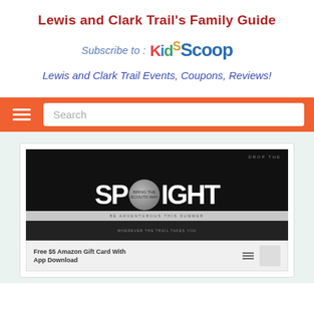Lewis and Clark Trail's Family Guide
Subscribe to : KidsScoop
Lewis and Clark Trail Events, Coupons, Reviews!
[Figure (screenshot): Orange navigation bar with hamburger menu icon and Search input field]
[Figure (screenshot): Content card showing a Drop The Spotlight promotional image and a Free $5 Amazon Gift Card With App Download promo row]